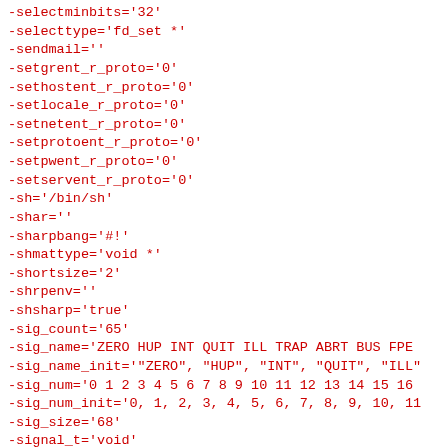-selectminbits='32'
-selecttype='fd_set *'
-sendmail=''
-setgrent_r_proto='0'
-sethostent_r_proto='0'
-setlocale_r_proto='0'
-setnetent_r_proto='0'
-setprotoent_r_proto='0'
-setpwent_r_proto='0'
-setservent_r_proto='0'
-sh='/bin/sh'
-shar=''
-sharpbang='#!'
-shmattype='void *'
-shortsize='2'
-shrpenv=''
-shsharp='true'
-sig_count='65'
-sig_name='ZERO HUP INT QUIT ILL TRAP ABRT BUS FPE
-sig_name_init='"ZERO", "HUP", "INT", "QUIT", "ILL"
-sig_num='0 1 2 3 4 5 6 7 8 9 10 11 12 13 14 15 16
-sig_num_init='0, 1, 2, 3, 4, 5, 6, 7, 8, 9, 10, 11
-sig_size='68'
-signal_t='void'
-sitearch='/usr/lib/perl5/site_perl/5.18.1/i686-lin
-sitearchexp='/usr/lib/perl5/site_perl/5.18.1/i686-
-sitebin='/usr/bin'
-sitebinexp='/usr/bin'
-sitehtml1dir=''
-sitehtml1direxp=''
-sitehtml1dir...